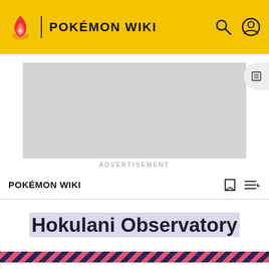POKÉMON WIKI
[Figure (screenshot): Advertisement placeholder grey box]
ADVERTISEMENT
POKÉMON WIKI
Hokulani Observatory
Don't like the ads? Then create an account! Users with
READ MORE